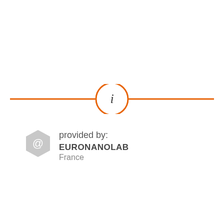[Figure (other): Horizontal orange divider line with a circle in the center containing an italic lowercase 'i' (information icon). The line runs across the full width of the page, interrupted by the circle in the middle.]
provided by: EURONANOLAB France